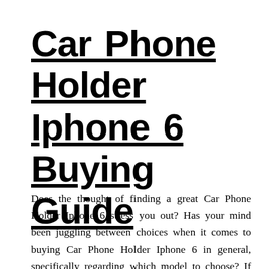Car Phone Holder Iphone 6 Buying Guide
Does the thought of finding a great Car Phone Holder Iphone 6 stress you out? Has your mind been juggling between choices when it comes to buying Car Phone Holder Iphone 6 in general, specifically regarding which model to choose? If that's the case, know that you're not alone. Many people find it tough to buy the perfect Car Phone Holder Iphone 6 for themselves. We